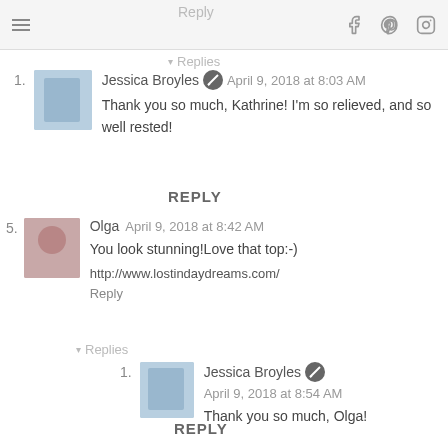Reply | [hamburger menu] [facebook] [pinterest] [instagram]
Reply
▾ Replies
1. Jessica Broyles · April 9, 2018 at 8:03 AM
Thank you so much, Kathrine! I'm so relieved, and so well rested!
REPLY
5. Olga  April 9, 2018 at 8:42 AM
You look stunning!Love that top:-)
http://www.lostindaydreams.com/
Reply
▾ Replies
1. Jessica Broyles · April 9, 2018 at 8:54 AM
Thank you so much, Olga!
REPLY